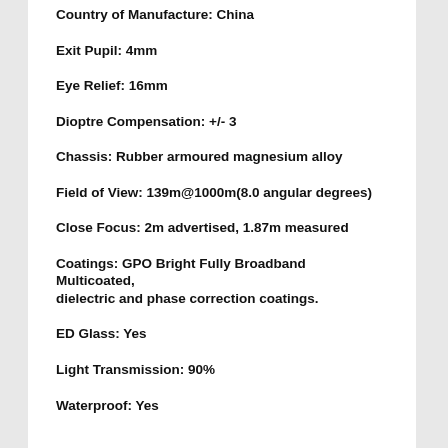Country of Manufacture: China
Exit Pupil: 4mm
Eye Relief: 16mm
Dioptre Compensation: +/- 3
Chassis: Rubber armoured magnesium alloy
Field of View: 139m@1000m(8.0 angular degrees)
Close Focus: 2m advertised, 1.87m measured
Coatings: GPO Bright Fully Broadband Multicoated, dielectric and phase correction coatings.
ED Glass: Yes
Light Transmission: 90%
Waterproof: Yes